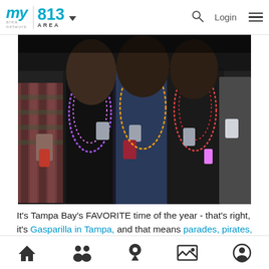my area network | 813 AREA | Login
[Figure (photo): Group of young people at a party, holding drinks, wearing Mardi Gras beads, dressed in casual clothing. Dark background suggesting a nighttime outdoor event.]
It's Tampa Bay's FAVORITE time of the year - that's right, it's Gasparilla in Tampa, and that means parades, pirates, and parties! One of the most enjoyable events this season will be the D-10 Society's Gasparilla After Party 2019, starting at 6 p.m. sharp. It's the perfect post-parade destination for kicking back, having fun, meeting new friends, and helping Hillsborough county
Home | People | Location | Gallery | Profile